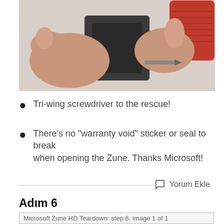[Figure (photo): Close-up photo of hands using a red tri-wing screwdriver on a dark device (Microsoft Zune HD)]
Tri-wing screwdriver to the rescue!
There's no "warranty void" sticker or seal to break when opening the Zune. Thanks Microsoft!
Yorum Ekle
Adım 6
[Figure (photo): Microsoft Zune HD Teardown: step 6, image 1 of 1]